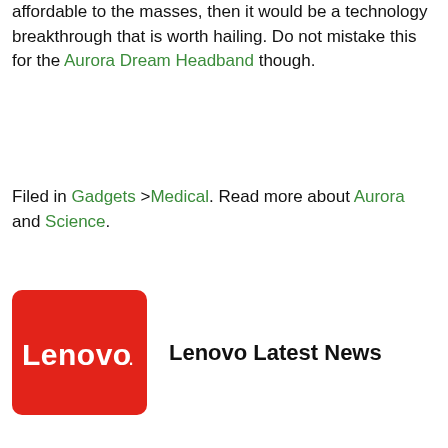affordable to the masses, then it would be a technology breakthrough that is worth hailing. Do not mistake this for the Aurora Dream Headband though.
Filed in Gadgets >Medical. Read more about Aurora and Science.
[Figure (logo): Lenovo logo — white text 'Lenovo.' on red rounded-rectangle background, next to bold text 'Lenovo Latest News']